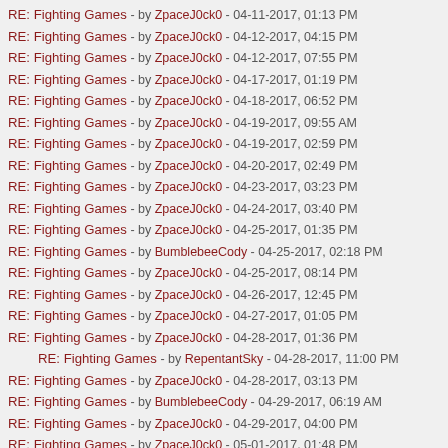RE: Fighting Games - by ZpaceJ0ck0 - 04-11-2017, 01:13 PM
RE: Fighting Games - by ZpaceJ0ck0 - 04-12-2017, 04:15 PM
RE: Fighting Games - by ZpaceJ0ck0 - 04-12-2017, 07:55 PM
RE: Fighting Games - by ZpaceJ0ck0 - 04-17-2017, 01:19 PM
RE: Fighting Games - by ZpaceJ0ck0 - 04-18-2017, 06:52 PM
RE: Fighting Games - by ZpaceJ0ck0 - 04-19-2017, 09:55 AM
RE: Fighting Games - by ZpaceJ0ck0 - 04-19-2017, 02:59 PM
RE: Fighting Games - by ZpaceJ0ck0 - 04-20-2017, 02:49 PM
RE: Fighting Games - by ZpaceJ0ck0 - 04-23-2017, 03:23 PM
RE: Fighting Games - by ZpaceJ0ck0 - 04-24-2017, 03:40 PM
RE: Fighting Games - by ZpaceJ0ck0 - 04-25-2017, 01:35 PM
RE: Fighting Games - by BumblebeeCody - 04-25-2017, 02:18 PM
RE: Fighting Games - by ZpaceJ0ck0 - 04-25-2017, 08:14 PM
RE: Fighting Games - by ZpaceJ0ck0 - 04-26-2017, 12:45 PM
RE: Fighting Games - by ZpaceJ0ck0 - 04-27-2017, 01:05 PM
RE: Fighting Games - by ZpaceJ0ck0 - 04-28-2017, 01:36 PM
RE: Fighting Games - by RepentantSky - 04-28-2017, 11:00 PM
RE: Fighting Games - by ZpaceJ0ck0 - 04-28-2017, 03:13 PM
RE: Fighting Games - by BumblebeeCody - 04-29-2017, 06:19 AM
RE: Fighting Games - by ZpaceJ0ck0 - 04-29-2017, 04:00 PM
RE: Fighting Games - by ZpaceJ0ck0 - 05-01-2017, 01:48 PM
RE: Fighting Games - by ZpaceJ0ck0 - 05-01-2017, 06:34 PM
RE: Fighting Games - by ZpaceJ0ck0 - 05-03-2017, 02:18 PM
RE: Fighting Games - by ZpaceJ0ck0 - 05-04-2017, 02:03 PM
RE: Fighting Games - by ZpaceJ0ck0 - 05-05-2017, 11:11 AM